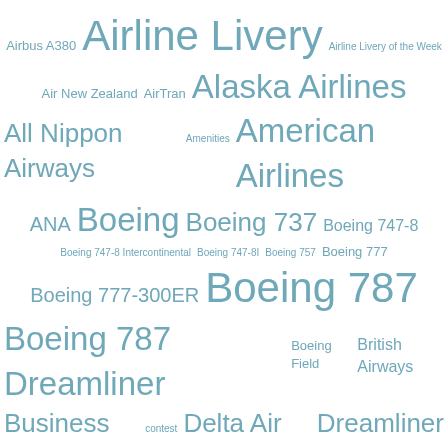[Figure (infographic): Word cloud with aviation and airline related tags in varying sizes, all in a steel blue/teal color on white background. Words include: Airbus A380, Airline Livery, Airline Livery of the Week, Air New Zealand, AirTran, Alaska Airlines, All Nippon Airways, Amenities, American Airlines, ANA, Boeing, Boeing 737, Boeing 747-8, Boeing 747-8 Intercontinental, Boeing 747-8I, Boeing 757, Boeing 777, Boeing 777-300ER, Boeing 787, Boeing 787 Dreamliner, Boeing Field, British Airways, Business Class, contest, Delta Air Lines, Dreamliner, economy, Economy Review, First Class, First Flight, Flight Review, Future of Flight, JetBlue, KPAE, LAX, Livery of the Week, My Review, PAE, Paine Field, Photos, Qatar Airways, Ryanair, Safety, SEA, Seattle, Seattle-Tacoma International Airport, Southwest Airlines, TSA, United, United Airlines]